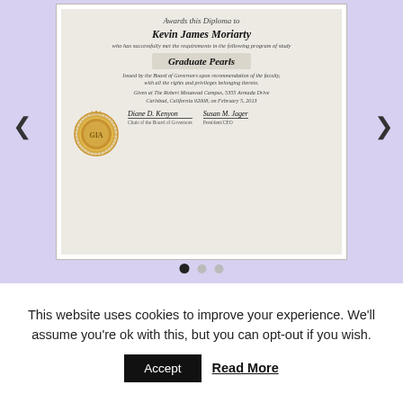[Figure (illustration): A GIA (Gemological Institute of America) diploma awarded to Kevin James Moriarty for the Graduate Pearls program, with a gold foil seal and two signatures, shown inside a carousel with left/right navigation arrows and three dots pagination on a lavender background.]
This website uses cookies to improve your experience. We'll assume you're ok with this, but you can opt-out if you wish.
Accept   Read More